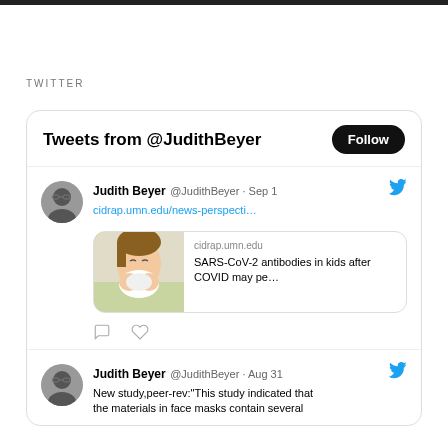TWITTER
[Figure (screenshot): Twitter widget showing tweets from @JudithBeyer. First tweet from Sep 1 with link to cidrap.umn.edu/news-perspecti... with a link card showing 'SARS-CoV-2 antibodies in kids after COVID may pe...'. Second tweet from Aug 31: 'New study,peer-rev:"This study indicated that the materials in face masks contain several']